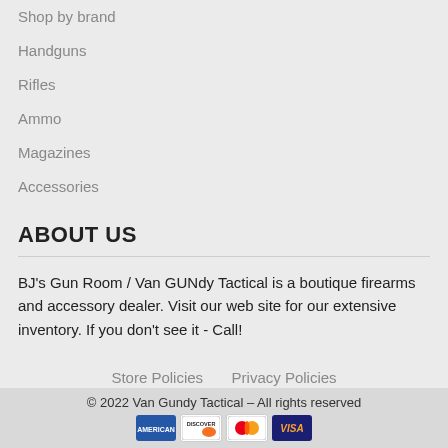Shop by brand
Handguns
Rifles
Ammo
Magazines
Accessories
ABOUT US
BJ's Gun Room / Van GUNdy Tactical is a boutique firearms and accessory dealer. Visit our web site for our extensive inventory. If you don't see it - Call!
Store Policies    Privacy Policies
© 2022 Van Gundy Tactical – All rights reserved